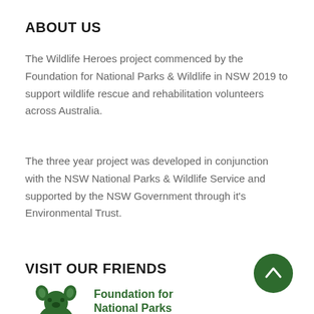ABOUT US
The Wildlife Heroes project commenced by the Foundation for National Parks & Wildlife in NSW 2019 to support wildlife rescue and rehabilitation volunteers across Australia.
The three year project was developed in conjunction with the NSW National Parks & Wildlife Service and supported by the NSW Government through it's Environmental Trust.
VISIT OUR FRIENDS
[Figure (logo): Foundation for National Parks & Wildlife logo — green koala illustration with text]
[Figure (other): Green circle scroll-to-top button with upward chevron arrow]